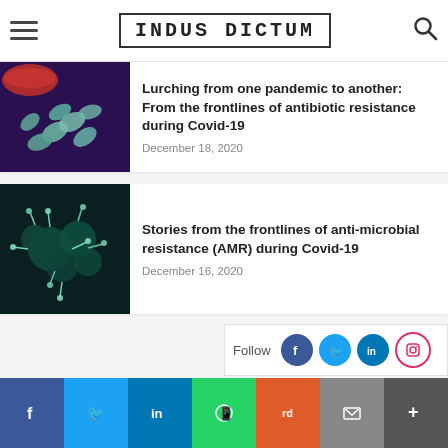INDUS DICTUM
[Figure (photo): Pills/capsules spilling from a red container on dark background]
Lurching from one pandemic to another: From the frontlines of antibiotic resistance during Covid-19
December 18, 2020
[Figure (photo): Microscopic image of virus or bacteria with spiky spherical structures on dark teal background]
Stories from the frontlines of anti-microbial resistance (AMR) during Covid-19
December 16, 2020